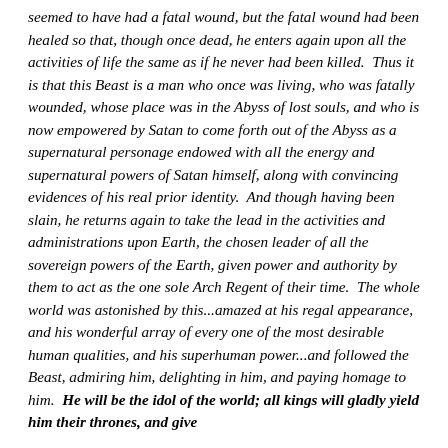seemed to have had a fatal wound, but the fatal wound had been healed so that, though once dead, he enters again upon all the activities of life the same as if he never had been killed. Thus it is that this Beast is a man who once was living, who was fatally wounded, whose place was in the Abyss of lost souls, and who is now empowered by Satan to come forth out of the Abyss as a supernatural personage endowed with all the energy and supernatural powers of Satan himself, along with convincing evidences of his real prior identity. And though having been slain, he returns again to take the lead in the activities and administrations upon Earth, the chosen leader of all the sovereign powers of the Earth, given power and authority by them to act as the one sole Arch Regent of their time. The whole world was astonished by this...amazed at his regal appearance, and his wonderful array of every one of the most desirable human qualities, and his superhuman power...and followed the Beast, admiring him, delighting in him, and paying homage to him. He will be the idol of the world; all kings will gladly yield him their thrones, and give